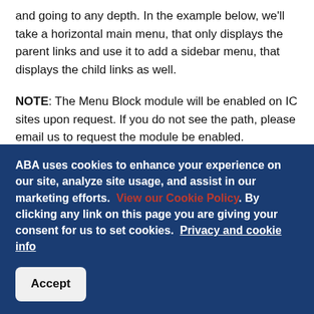and going to any depth. In the example below, we'll take a horizontal main menu, that only displays the parent links and use it to add a sidebar menu, that displays the child links as well.
NOTE: The Menu Block module will be enabled on IC sites upon request. If you do not see the path, please email us to request the module be enabled.
CONFIGURE THE MENU BLOCK
Navigate to: Structure > Blocks > Add Menu Block
1. Block title - This title will be displayed to site visitors, if you do not want to display a title use <none>
2. Administrative title - This will only be displayed to site
ABA uses cookies to enhance your experience on our site, analyze site usage, and assist in our marketing efforts. View our Cookie Policy. By clicking any link on this page you are giving your consent for us to set cookies. Privacy and cookie info
Accept